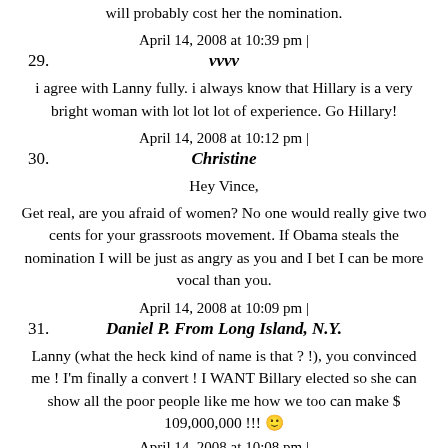will probably cost her the nomination.
April 14, 2008 at 10:39 pm |
29. vvvv
i agree with Lanny fully. i always know that Hillary is a very bright woman with lot lot lot of experience. Go Hillary!
April 14, 2008 at 10:12 pm |
30. Christine
Hey Vince,
Get real, are you afraid of women? No one would really give two cents for your grassroots movement. If Obama steals the nomination I will be just as angry as you and I bet I can be more vocal than you.
April 14, 2008 at 10:09 pm |
31. Daniel P. From Long Island, N.Y.
Lanny (what the heck kind of name is that ? !), you convinced me ! I'm finally a convert ! I WANT Billary elected so she can show all the poor people like me how we too can make $ 109,000,000 !!! 🙂
April 14, 2008 at 10:08 pm |